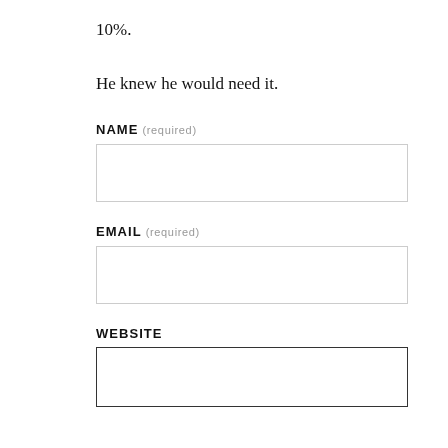10%.
He knew he would need it.
NAME (required)
[Figure (other): Empty text input box for NAME field]
EMAIL (required)
[Figure (other): Empty text input box for EMAIL field]
WEBSITE
[Figure (other): Empty text input box for WEBSITE field]